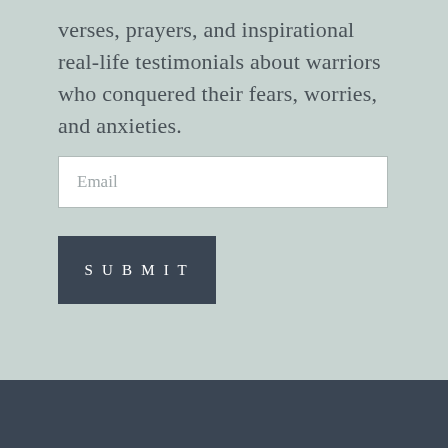verses, prayers, and inspirational real-life testimonials about warriors who conquered their fears, worries, and anxieties.
[Figure (other): Email input field with placeholder text 'Email']
[Figure (other): Submit button with text 'SUBMIT']